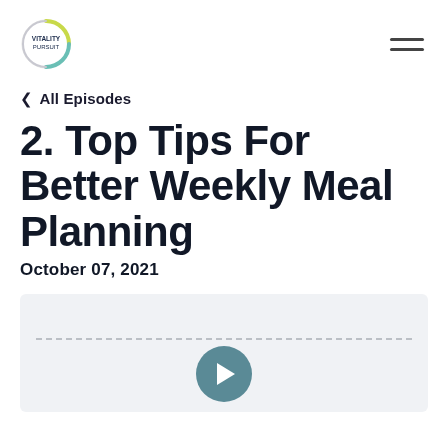[Figure (logo): Vitality Pursue circular logo with green and yellow arc]
< All Episodes
2. Top Tips For Better Weekly Meal Planning
October 07, 2021
[Figure (screenshot): Media player with dotted progress line and play button]